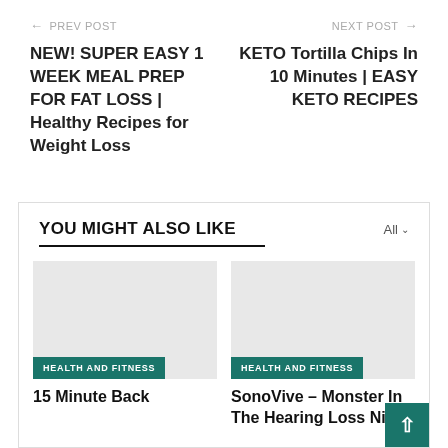← PREV POST
NEXT POST →
NEW! SUPER EASY 1 WEEK MEAL PREP FOR FAT LOSS | Healthy Recipes for Weight Loss
KETO Tortilla Chips In 10 Minutes | EASY KETO RECIPES
YOU MIGHT ALSO LIKE
[Figure (photo): Placeholder image for 15 Minute Back article]
HEALTH AND FITNESS
15 Minute Back
[Figure (photo): Placeholder image for SonoVive article]
HEALTH AND FITNESS
SonoVive – Monster In The Hearing Loss Niche